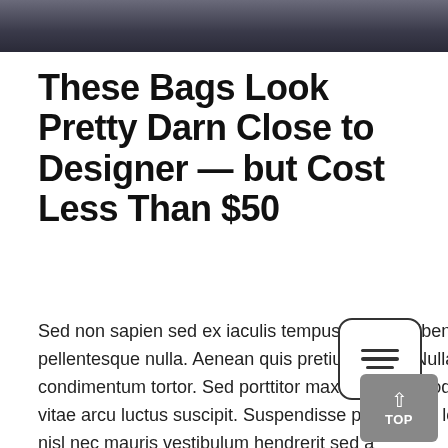[Figure (photo): Partial photo of a person wearing dark clothing, cropped to show only the upper torso area against a dark background]
These Bags Look Pretty Darn Close to Designer — but Cost Less Than $50
Sed non sapien sed ex iaculis tempus. Donec bibendum luctus nibh, ac pellentesque nulla. Aenean quis pretium tellus. Nullam vel viverra tortor. Nulla sed condimentum tortor. Sed porttitor maximus commodo. Maecenas bibendum dui vitae arcu luctus suscipit. Suspendisse pharetra in lorem vehicula cursus. Sed at nisl nec mauris vestibulum hendrerit sed a